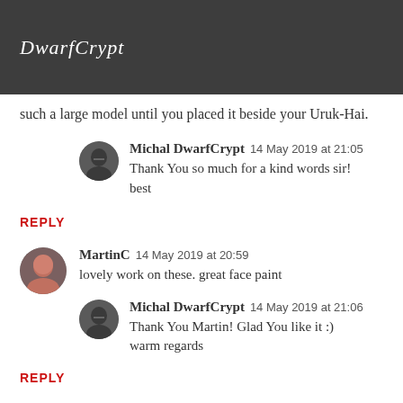DwarfCrypt
such a large model until you placed it beside your Uruk-Hai.
Michal DwarfCrypt  14 May 2019 at 21:05
Thank You so much for a kind words sir! best
REPLY
MartinC  14 May 2019 at 20:59
lovely work on these. great face paint
Michal DwarfCrypt  14 May 2019 at 21:06
Thank You Martin! Glad You like it :) warm regards
REPLY